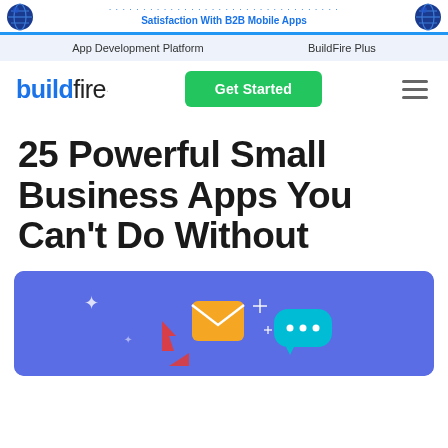Register for our live Webinar: Boost Client Satisfaction With B2B Mobile Apps
App Development Platform   BuildFire Plus
[Figure (logo): BuildFire logo — 'build' in blue, 'fire' in dark gray]
25 Powerful Small Business Apps You Can't Do Without
[Figure (illustration): Hero illustration on a purple/indigo background showing mobile app communication icons: envelope, chat bubbles, cursor, and sparkle graphics]